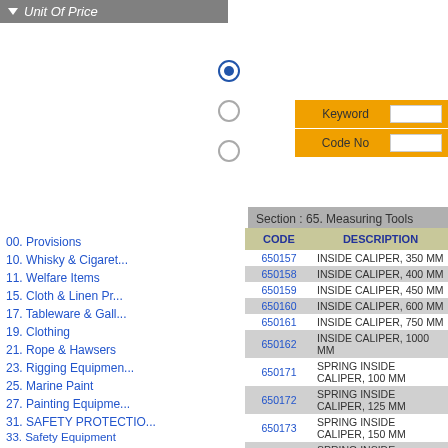Unit Of Price
[Figure (screenshot): Radio buttons group with three options, top one selected (filled blue circle)]
[Figure (screenshot): Keyword and Code No search form with orange background and white input fields]
Section : 65. Measuring Tools
00. Provisions
10. Whisky & Cigaret...
11. Welfare Items
15. Cloth & Linen Pr...
17. Tableware & Gall...
19. Clothing
21. Rope & Hawsers
23. Rigging Equipmen...
25. Marine Paint
27. Painting Equipme...
31. SAFETY PROTECTIO...
33. Safety Equipment
35. Hose & Couplings
37. Nautical Equipme...
| CODE | DESCRIPTION |
| --- | --- |
| 650157 | INSIDE CALIPER, 350 MM |
| 650158 | INSIDE CALIPER, 400 MM |
| 650159 | INSIDE CALIPER, 450 MM |
| 650160 | INSIDE CALIPER, 600 MM |
| 650161 | INSIDE CALIPER, 750 MM |
| 650162 | INSIDE CALIPER, 1000 MM |
| 650171 | SPRING INSIDE CALIPER, 100 MM |
| 650172 | SPRING INSIDE CALIPER, 125 MM |
| 650173 | SPRING INSIDE CALIPER, 150 MM |
| 650174 | SPRING INSIDE CALIPER, 200 MM |
| 650175 | SPRING INSIDE CALIPER, 250 MM |
| 650176 | SPRING INSIDE CALIPER, 300 MM |
| 650181 | LOCK JOINT TRANSFER INSIDE CAL... |